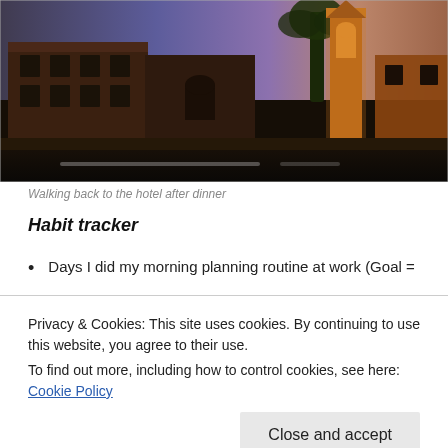[Figure (photo): Nighttime street scene with brick buildings, a church tower lit in orange/gold light, a palm tree, and a dark road in the foreground under a twilight sky.]
Walking back to the hotel after dinner
Habit tracker
Days I did my morning planning routine at work (Goal =
Privacy & Cookies: This site uses cookies. By continuing to use this website, you agree to their use.
To find out more, including how to control cookies, see here: Cookie Policy
Close and accept